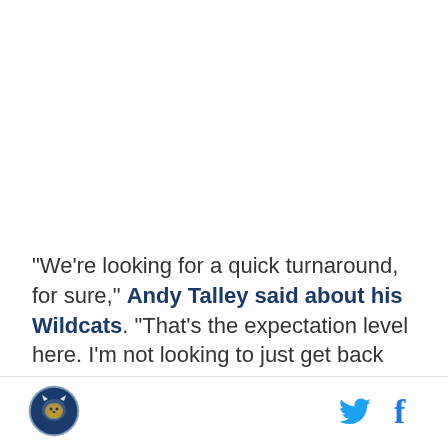"We're looking for a quick turnaround, for sure," Andy Talley said about his Wildcats. "That's the expectation level here. I'm not looking to just get back
[Figure (logo): Circular logo with a wildcat/mascot emblem in blue and white]
[Figure (logo): Twitter bird icon in cyan blue]
[Figure (logo): Facebook 'f' icon in blue]